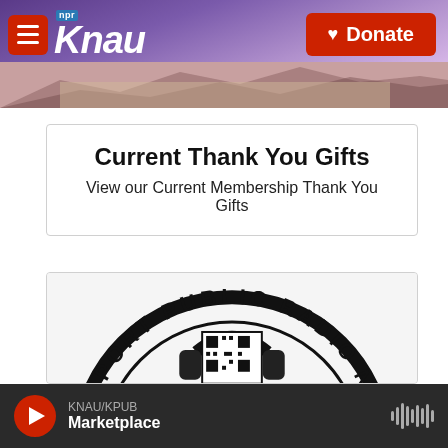KNAU NPR - Donate
[Figure (screenshot): KNAU public radio website header with logo, hamburger menu, mountain landscape banner, and red Donate button]
Current Thank You Gifts
View our Current Membership Thank You Gifts
[Figure (photo): Support Public Radio Now circular sticker/badge with headphones icon and QR code in center, black and white]
KNAU/KPUB Marketplace (audio player bar)